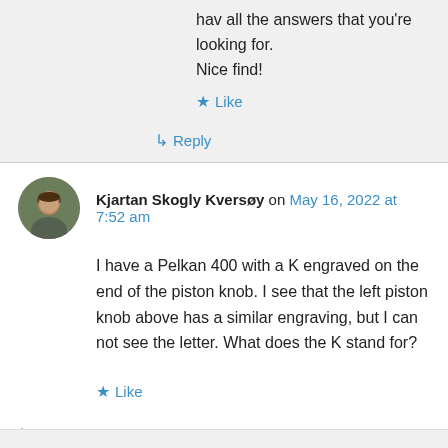hav all the answers that you're looking for. Nice find!
Like
Reply
Kjartan Skogly Kversøy on May 16, 2022 at 7:52 am
I have a Pelkan 400 with a K engraved on the end of the piston knob. I see that the left piston knob above has a similar engraving, but I can not see the letter. What does the K stand for?
Like
Reply